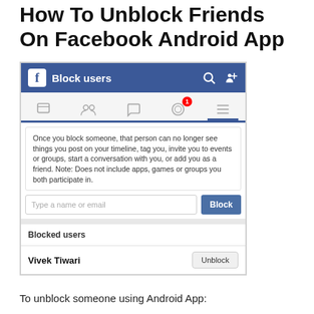How To Unblock Friends On Facebook Android App
[Figure (screenshot): Facebook Android App screenshot showing the Block users screen with a search field, Block button, Blocked users section, and Vivek Tiwari listed with an Unblock button.]
To unblock someone using Android App: